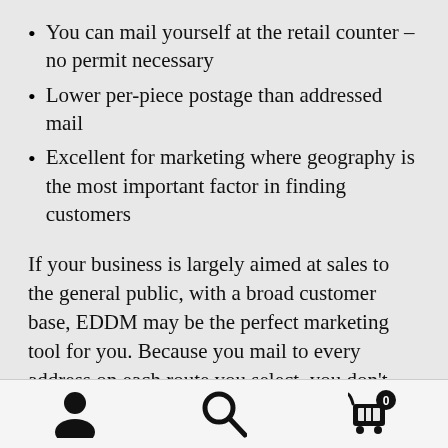You can mail yourself at the retail counter – no permit necessary
Lower per-piece postage than addressed mail
Excellent for marketing where geography is the most important factor in finding customers
If your business is largely aimed at sales to the general public, with a broad customer base, EDDM may be the perfect marketing tool for you. Because you mail to every address on each route you select, you don't need a mailing list that must be validated and presorted (at additional cost) every time you send a mailing out. You simply choose the area you want to reach, select your routes, and go! The USPS-provided tool shows you each route, and can give you
User icon, Search icon, Cart icon with badge 0